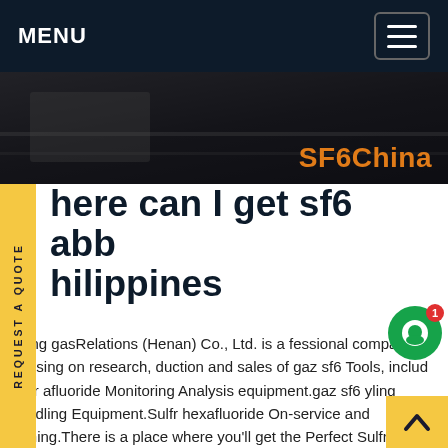MENU
[Figure (screenshot): Dark hero banner image with SF6China brand text in orange]
Where can I get sf6 abb philippines
Insulating gasRelations (Henan) Co., Ltd. is a professional company focusing on research, production and sales of gaz sf6 Tools, includ Sulfr hexafluoride Monitoring Analysis equipment.gaz sf6 Recycling Handling Equipment.Sulfr hexafluoride On-site service and training.There is a place where you'll get the Perfect Sulfr hexafluoride solution for all your needs. We have 421 employees, factory covering asGet price